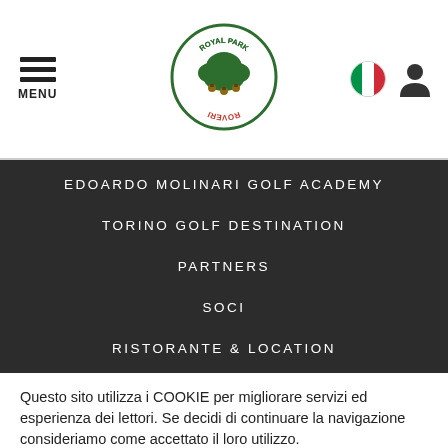MENU  27°C  [Royal Park Roveri Logo]  [Italian Flag]  [User Icon]
EDOARDO MOLINARI GOLF ACADEMY
TORINO GOLF DESTINATION
PARTNERS
SOCI
RISTORANTE & LOCATION
Questo sito utilizza i COOKIE per migliorare servizi ed esperienza dei lettori. Se decidi di continuare la navigazione consideriamo come accettato il loro utilizzo.
Maggiori Informazioni  OK